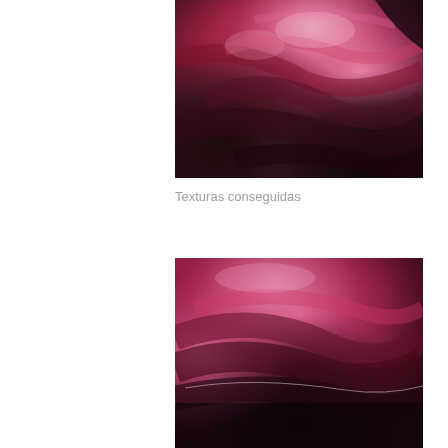[Figure (photo): Close-up photograph of an abstract painting with pink/magenta and black brushstrokes and textured paint surface]
Texturas conseguidas
[Figure (photo): Close-up photograph of an abstract painting with pink/magenta and dark black paint, showing textured canvas surface with flowing brush marks]